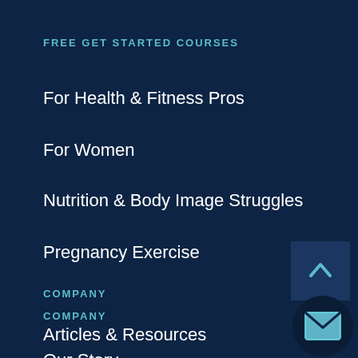FREE GET STARTED COURSES
For Health & Fitness Pros
For Women
Nutrition & Body Image Struggles
Pregnancy Exercise
COMPANY
Articles & Resources
Our Story
[Figure (illustration): Scroll-to-top button with upward chevron arrow icon on dark navy background]
[Figure (illustration): Email/envelope icon button on dark circular background]